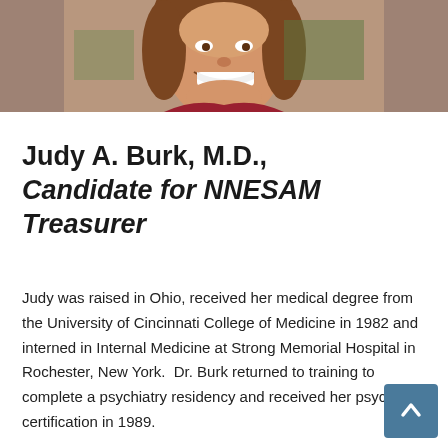[Figure (photo): Portrait photo of Judy A. Burk, M.D., a woman smiling, with brown hair, set against a brownish/tan background.]
Judy A. Burk, M.D., Candidate for NNESAM Treasurer
Judy was raised in Ohio, received her medical degree from the University of Cincinnati College of Medicine in 1982 and interned in Internal Medicine at Strong Memorial Hospital in Rochester, New York. Dr. Burk returned to training to complete a psychiatry residency and received her psychiatry certification in 1989.